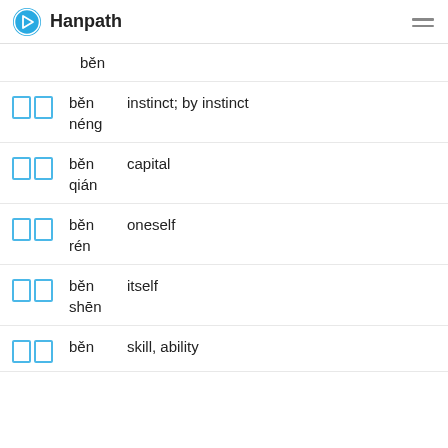Hanpath
běn
běn — instinct; by instinct / néng
běn — capital / qián
běn — oneself / rén
běn — itself / shēn
běn — skill, ability